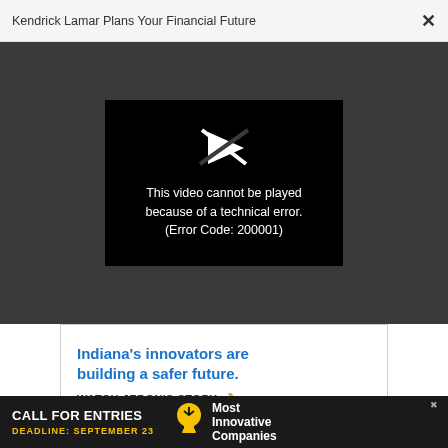Kendrick Lamar Plans Your Financial Future ×
[Figure (screenshot): Video player showing error: black rectangle with broken play icon and text 'This video cannot be played because of a technical error. (Error Code: 200001)' on dark grey background]
[Figure (screenshot): Advertisement banner: 'Indiana's innovators are building a safer future. WATCH JERON'S STORY.' with yellow arrow, white background, yellow bottom border]
[Figure (screenshot): Bottom ad banner on dark background: 'CALL FOR ENTRIES DEADLINE: SEPTEMBER 23' with lightbulb icon and 'Most Innovative Companies' text, with close X button]